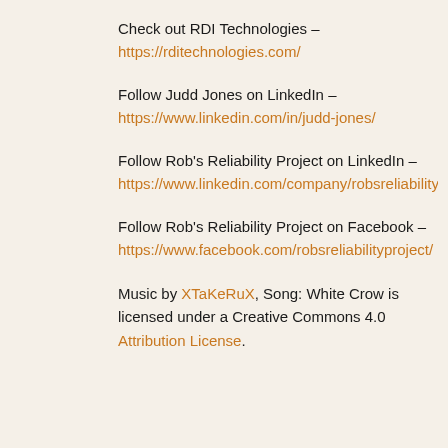Check out RDI Technologies –
https://rditechnologies.com/
Follow Judd Jones on LinkedIn –
https://www.linkedin.com/in/judd-jones/
Follow Rob's Reliability Project on LinkedIn –
https://www.linkedin.com/company/robsreliabilityproje
Follow Rob's Reliability Project on Facebook –
https://www.facebook.com/robsreliabilityproject/
Music by XTaKeRuX, Song: White Crow is licensed under a Creative Commons 4.0 Attribution License.